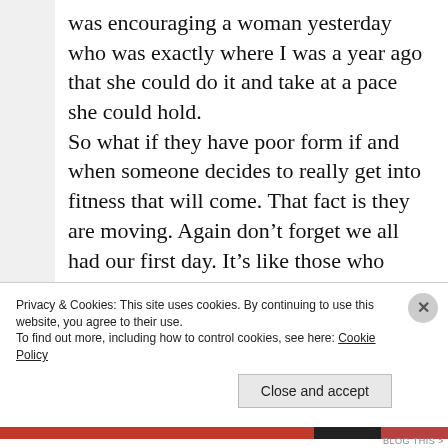was encouraging a woman yesterday who was exactly where I was a year ago that she could do it and take at a pace she could hold. So what if they have poor form if and when someone decides to really get into fitness that will come. That fact is they are moving. Again don't forget we all had our first day. It's like those who belittle people who start going to the gym on Jan 1st. Well I wonder how my lives have been changed
Privacy & Cookies: This site uses cookies. By continuing to use this website, you agree to their use.
To find out more, including how to control cookies, see here: Cookie Policy
Close and accept